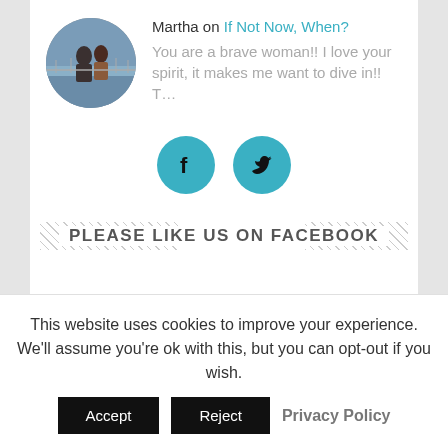Martha on If Not Now, When? You are a brave woman!! I love your spirit, it makes me want to dive in!! T...
[Figure (illustration): Facebook and Twitter social share buttons — two teal circular icons with f and bird logos]
PLEASE LIKE US ON FACEBOOK
need a website?
This website uses cookies to improve your experience. We'll assume you're ok with this, but you can opt-out if you wish.